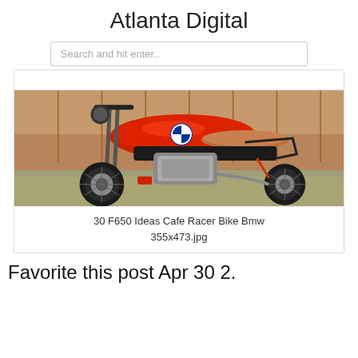Atlanta Digital
Search and hit enter..
[Figure (photo): A red BMW F650 cafe racer style motorcycle with brown seat, black frame, spoke wheels, and red accent parts, photographed outdoors against a wooden fence background.]
30 F650 Ideas Cafe Racer Bike Bmw 355x473.jpg
Favorite this post Apr 30 2.